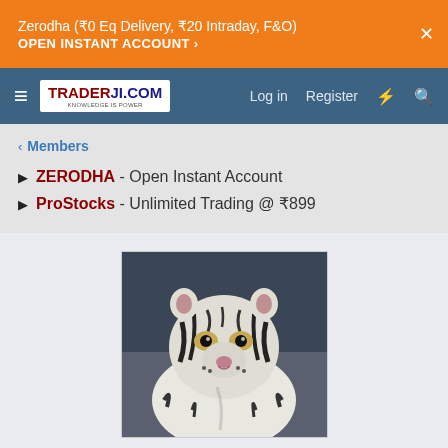Zerodha (₹0 Eq Delivery, ₹20 Intraday, F&O) OPEN INSTANT ACCOUNT ›
TRADERJI.COM — Log in  Register
< Members
► ZERODHA - Open Instant Account
► ProStocks - Unlimited Trading @ ₹899
[Figure (photo): Profile photo of a white tiger facing forward]
Subhadip
Well-Known Member · From in-ter-net